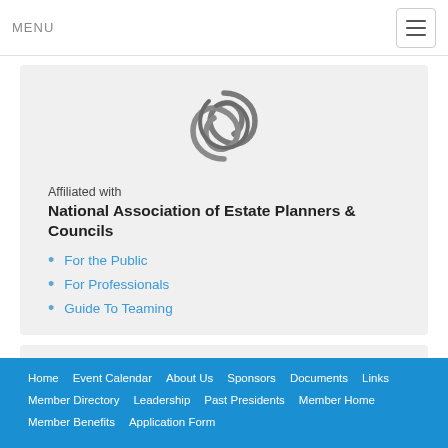MENU
[Figure (logo): Stylized knot/wave logo in gray for National Association of Estate Planners & Councils]
Affiliated with
National Association of Estate Planners & Councils
For the Public
For Professionals
Guide To Teaming
Join our Mailing List!
Home   Event Calendar   About Us   Sponsors   Documents   Links   Member Directory   Leadership   Past Presidents   Member Home   Member Benefits   Application Form